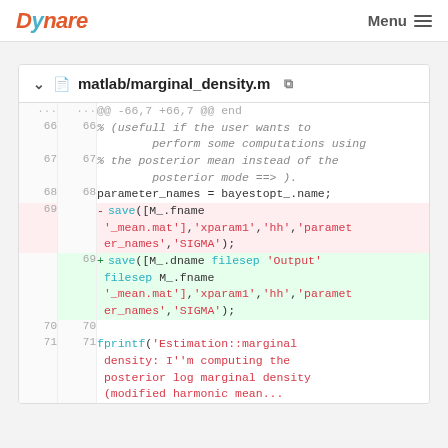Dynare  Menu
matlab/marginal_density.m
[Figure (screenshot): Code diff view of matlab/marginal_density.m showing lines 66-71 with a deleted save([M_.fname '_mean.mat'],'xparam1','hh','parameter_names','SIGMA'); on line 69 and an added save([M_.dname filesep 'Output' filesep M_.fname '_mean.mat'],'xparam1','hh','parameter_names','SIGMA'); on line 69. Lines 66-68 show comment about posterior mean computation and parameter_names assignment. Lines 70-71 show fprintf call.]